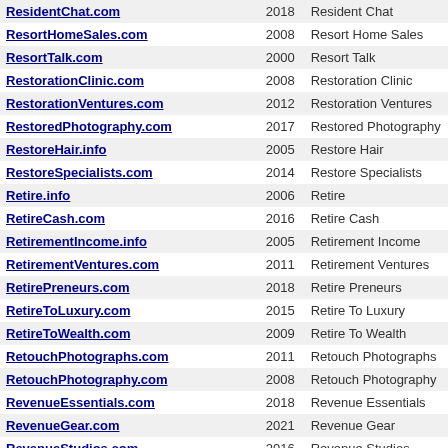| Domain | Year | Name |
| --- | --- | --- |
| ResidentChat.com | 2018 | Resident Chat |
| ResortHomeSales.com | 2008 | Resort Home Sales |
| ResortTalk.com | 2000 | Resort Talk |
| RestorationClinic.com | 2008 | Restoration Clinic |
| RestorationVentures.com | 2012 | Restoration Ventures |
| RestoredPhotography.com | 2017 | Restored Photography |
| RestoreHair.info | 2005 | Restore Hair |
| RestoreSpecialists.com | 2014 | Restore Specialists |
| Retire.info | 2006 | Retire |
| RetireCash.com | 2016 | Retire Cash |
| RetirementIncome.info | 2005 | Retirement Income |
| RetirementVentures.com | 2011 | Retirement Ventures |
| RetirePreneurs.com | 2018 | Retire Preneurs |
| RetireToLuxury.com | 2015 | Retire To Luxury |
| RetireToWealth.com | 2009 | Retire To Wealth |
| RetouchPhotographs.com | 2011 | Retouch Photographs |
| RetouchPhotography.com | 2008 | Retouch Photography |
| RevenueEssentials.com | 2018 | Revenue Essentials |
| RevenueGear.com | 2021 | Revenue Gear |
| RevenueStudios.com | 2016 | Revenue Studios |
| RewardBuys.com | 2010 | Reward Buys |